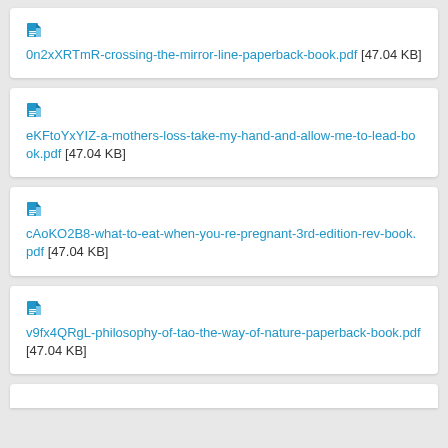0n2xXRTmR-crossing-the-mirror-line-paperback-book.pdf [47.04 KB]
eKFtoYxYIZ-a-mothers-loss-take-my-hand-and-allow-me-to-lead-book.pdf [47.04 KB]
cAoKO2B8-what-to-eat-when-you-re-pregnant-3rd-edition-rev-book.pdf [47.04 KB]
v9fx4QRgL-philosophy-of-tao-the-way-of-nature-paperback-book.pdf [47.04 KB]